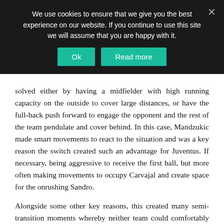We use cookies to ensure that we give you the best experience on our website. If you continue to use this site we will assume that you are happy with it.
solved either by having a midfielder with high running capacity on the outside to cover large distances, or have the full-back push forward to engage the opponent and the rest of the team pendulate and cover behind. In this case, Mandzukic made smart movements to react to the situation and was a key reason the switch created such an advantage for Juventus. If necessary, being aggressive to receive the first ball, but more often making movements to occupy Carvajal and create space for the onrushing Sandro.
Alongside some other key reasons, this created many semi-transition moments whereby neither team could comfortably control the game. However, as the game continued into the second half, the tempo of the game reduced with more sustained periods of organisation for each team. The advanced positioning of Carvajal during attacking organisation dragged Mandzukic into deep areas where he was unable to influence